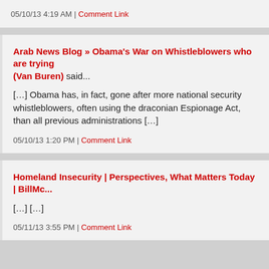05/10/13 4:19 AM | Comment Link
Arab News Blog » Obama's War on Whistleblowers who are trying (Van Buren) said...
[…] Obama has, in fact, gone after more national security whistleblowers, often using the draconian Espionage Act, than all previous administrations […]
05/10/13 1:20 PM | Comment Link
Homeland Insecurity | Perspectives, What Matters Today | BillMc...
[…] […]
05/11/13 3:55 PM | Comment Link